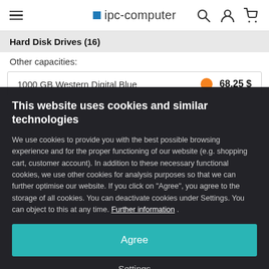ipc-computer
Hard Disk Drives (16)
Other capacities:
| Product |  | Price |
| --- | --- | --- |
| 1000 GB Western Digital Blue | ● | 68.25 $ |
This website uses cookies and similar technologies
We use cookies to provide you with the best possible browsing experience and for the proper functioning of our website (e.g. shopping cart, customer account). In addition to these necessary functional cookies, we use other cookies for analysis purposes so that we can further optimise our website. If you click on "Agree", you agree to the storage of all cookies. You can deactivate cookies under Settings. You can object to this at any time. Further information .
Agree
Settings